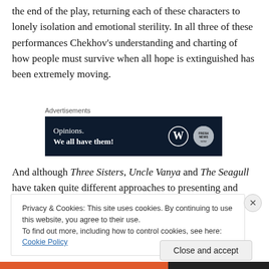the end of the play, returning each of these characters to lonely isolation and emotional sterility. In all three of these performances Chekhov's understanding and charting of how people must survive when all hope is extinguished has been extremely moving.
Advertisements
[Figure (other): WordPress 'Opinions. We all have them!' advertisement banner with dark navy background and WordPress logo]
And although Three Sisters, Uncle Vanya and The Seagull have taken quite different approaches to presenting and
Privacy & Cookies: This site uses cookies. By continuing to use this website, you agree to their use.
To find out more, including how to control cookies, see here: Cookie Policy
Close and accept